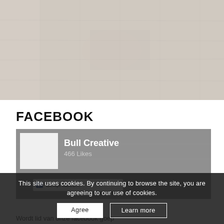[Figure (photo): Faded sepia/gray textured background image resembling aged paper or stone surface, appearing at top of page]
FACEBOOK
[Figure (screenshot): Facebook page widget showing 'Bull Creative' page with 466 Likes, profile image placeholder, and 'Bekijk facebook...' link]
[Figure (other): Cookie consent overlay with text 'This site uses cookies. By continuing to browse the site, you are agreeing to our use of cookies.' and two buttons: 'Agree' and 'Learn more']
Wordt lid van onze facebook goep